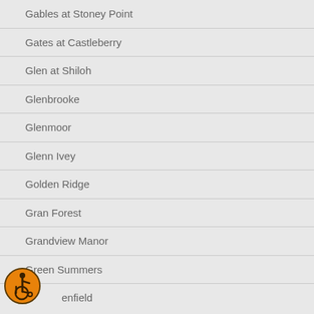Gables at Stoney Point
Gates at Castleberry
Glen at Shiloh
Glenbrooke
Glenmoor
Glenn Ivey
Golden Ridge
Gran Forest
Grandview Manor
Green Summers
Greenfield
[Figure (illustration): Orange circular accessibility icon showing a wheelchair user symbol in black on orange background with dark border]